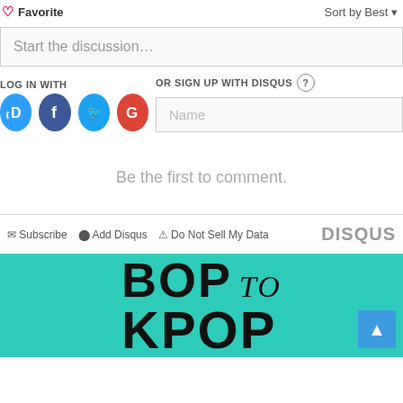Favorite
Sort by Best
Start the discussion…
LOG IN WITH
OR SIGN UP WITH DISQUS ?
Name
Be the first to comment.
Subscribe  Add Disqus  Do Not Sell My Data
DISQUS
[Figure (logo): BOP to KPOP logo in black text on teal background]